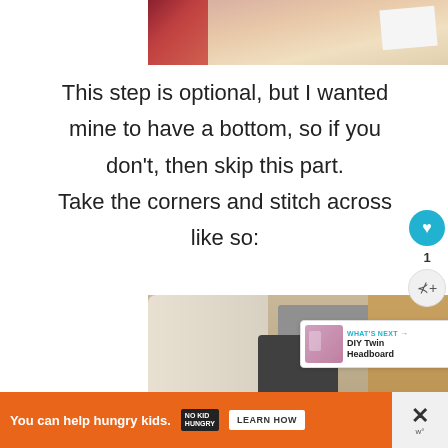[Figure (photo): Top portion of a sewing/crafting scene showing fabric and paper pieces on a surface]
This step is optional, but I wanted mine to have a bottom, so if you don't, then skip this part. Take the corners and stitch across like so:
[Figure (photo): Hands guiding white fabric through a sewing machine on a wooden surface]
[Figure (infographic): What's Next widget showing DIY Twin Headboard suggestion with thumbnail image]
[Figure (infographic): Advertisement banner: You can help hungry kids. No Kid Hungry logo. Learn How button.]